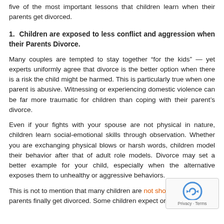five of the most important lessons that children learn when their parents get divorced.
1. Children are exposed to less conflict and aggression when their Parents Divorce.
Many couples are tempted to stay together “for the kids” — yet experts uniformly agree that divorce is the better option when there is a risk the child might be harmed. This is particularly true when one parent is abusive. Witnessing or experiencing domestic violence can be far more traumatic for children than coping with their parent’s divorce.
Even if your fights with your spouse are not physical in nature, children learn social-emotional skills through observation. Whether you are exchanging physical blows or harsh words, children model their behavior after that of adult role models. Divorce may set a better example for your child, especially when the alternative exposes them to unhealthy or aggressive behaviors.
This is not to mention that many children are not shocked when their parents finally get divorced. Some children expect or even …